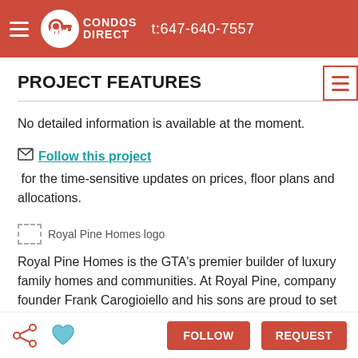CONDOS DIRECT  t:647-640-7557
PROJECT FEATURES
No detailed information is available at the moment.
Follow this project for the time-sensitive updates on prices, floor plans and allocations.
[Figure (logo): Royal Pine Homes logo]
Royal Pine Homes is the GTA’s premier builder of luxury family homes and communities. At Royal Pine, company founder Frank Carogioiello and his sons are proud to set
FOLLOW  REQUEST